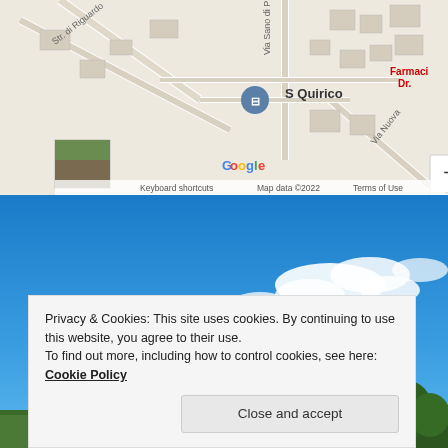[Figure (map): Google Maps screenshot showing S Quirico location with street labels including 'Str. di Riguardo', 'Via Sano di P', 'Via Nuova', a bus stop marker labeled 'S Quirico', a pharmacy label 'Farmaci Dr.', zoom controls (+/-), a thumbnail photo in lower left, Google logo, 'Keyboard shortcuts', 'Map data ©2022', and 'Terms of Use'.]
[Figure (photo): Landscape photo showing a wide blue sky with scattered white clouds, with green trees and a terracotta-roofed structure visible along the bottom edge.]
Privacy & Cookies: This site uses cookies. By continuing to use this website, you agree to their use.
To find out more, including how to control cookies, see here: Cookie Policy

Close and accept